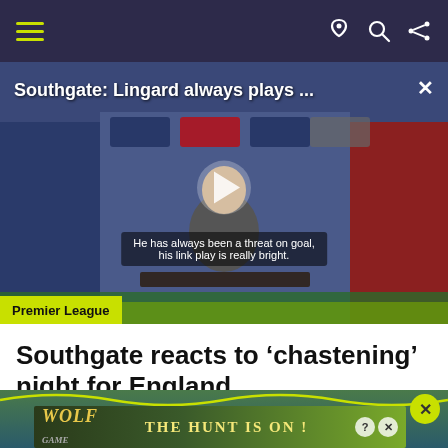Navigation bar with hamburger menu, dark mode, search, and share icons
[Figure (screenshot): Video thumbnail showing Gareth Southgate at a press conference with England football branding. Title overlay: 'Southgate: Lingard always plays ...' Subtitle: 'He has always been a threat on goal, his link play is really bright.' Play button visible in center.]
Premier League
Southgate reacts to ‘chastening’ night for England
[Figure (screenshot): Advertisement banner showing Wolf Game with wolves and text 'THE HUNT IS ON!' with close and info buttons.]